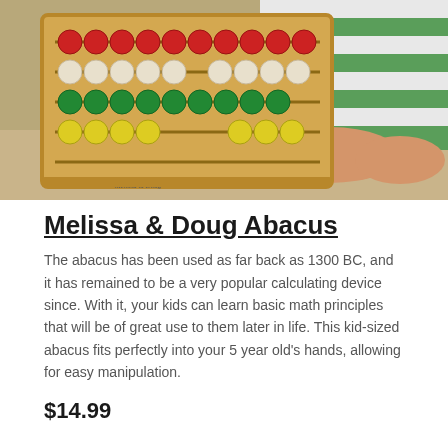[Figure (photo): A child holding a colorful wooden Melissa & Doug abacus. The abacus has rows of red, white, green, and yellow beads on wooden rods. The child is wearing a green and white striped shirt.]
Melissa & Doug Abacus
The abacus has been used as far back as 1300 BC, and it has remained to be a very popular calculating device since. With it, your kids can learn basic math principles that will be of great use to them later in life. This kid-sized abacus fits perfectly into your 5 year old's hands, allowing for easy manipulation.
$14.99